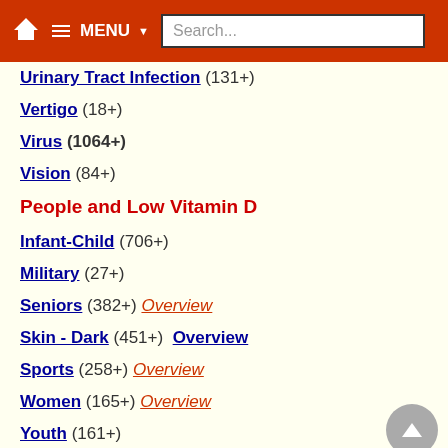MENU Search...
Urinary Tract Infection (131+)
Vertigo (18+)
Virus (1064+)
Vision (84+)
People and Low Vitamin D
Infant-Child (706+)
Military (27+)
Seniors (382+) Overview
Skin - Dark (451+) Overview
Sports (258+) Overview
Women (165+) Overview
Youth (161+)